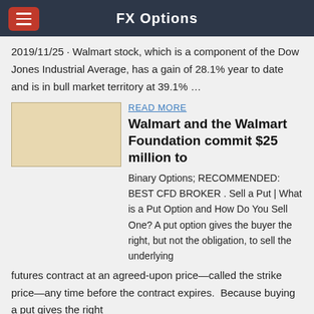FX Options
2019/11/25 · Walmart stock, which is a component of the Dow Jones Industrial Average, has a gain of 28.1% year to date and is in bull market territory at 39.1% …
[Figure (photo): Thumbnail image placeholder for article]
READ MORE
Walmart and the Walmart Foundation commit $25 million to
Binary Options; RECOMMENDED: BEST CFD BROKER . Sell a Put | What is a Put Option and How Do You Sell One? A put option gives the buyer the right, but not the obligation, to sell the underlying futures contract at an agreed-upon price—called the strike price—any time before the contract expires.  Because buying a put gives the right